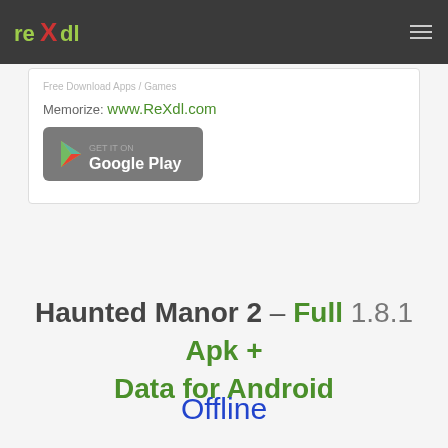ReXdl logo navigation bar
Memorize: www.ReXdl.com
[Figure (logo): Google Play store button badge]
Haunted Manor 2 – Full 1.8.1 Apk + Data for Android
Offline